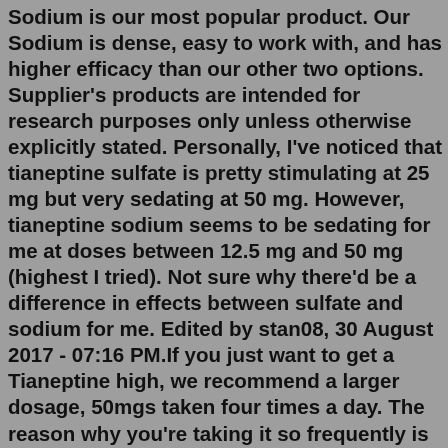Sodium is our most popular product. Our Sodium is dense, easy to work with, and has higher efficacy than our other two options. Supplier's products are intended for research purposes only unless otherwise explicitly stated. Personally, I've noticed that tianeptine sulfate is pretty stimulating at 25 mg but very sedating at 50 mg. However, tianeptine sodium seems to be sedating for me at doses between 12.5 mg and 50 mg (highest I tried). Not sure why there'd be a difference in effects between sulfate and sodium for me. Edited by stan08, 30 August 2017 - 07:16 PM.If you just want to get a Tianeptine high, we recommend a larger dosage, 50mgs taken four times a day. The reason why you're taking it so frequently is that Tianeptine only has a half-life of three hours, which means that you have to redose repeatedly to keep the high going.So right off the bat, the dosage is going to need to go up to get the same amount of Tianeptine molecule into the body. Pair that with the slower absorption, and things change a lot. If one were used to